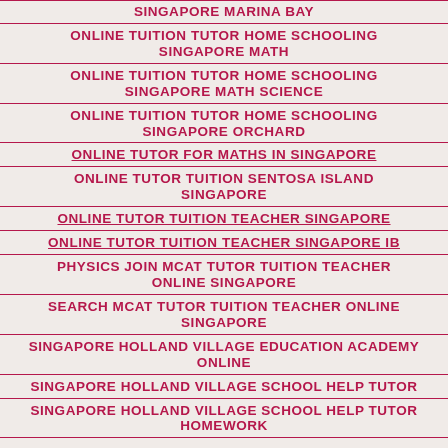SINGAPORE MARINA BAY
ONLINE TUITION TUTOR HOME SCHOOLING SINGAPORE MATH
ONLINE TUITION TUTOR HOME SCHOOLING SINGAPORE MATH SCIENCE
ONLINE TUITION TUTOR HOME SCHOOLING SINGAPORE ORCHARD
ONLINE TUTOR FOR MATHS IN SINGAPORE
ONLINE TUTOR TUITION SENTOSA ISLAND SINGAPORE
ONLINE TUTOR TUITION TEACHER SINGAPORE
ONLINE TUTOR TUITION TEACHER SINGAPORE IB
PHYSICS JOIN MCAT TUTOR TUITION TEACHER ONLINE SINGAPORE
SEARCH MCAT TUTOR TUITION TEACHER ONLINE SINGAPORE
SINGAPORE HOLLAND VILLAGE EDUCATION ACADEMY ONLINE
SINGAPORE HOLLAND VILLAGE SCHOOL HELP TUTOR
SINGAPORE HOLLAND VILLAGE SCHOOL HELP TUTOR HOMEWORK